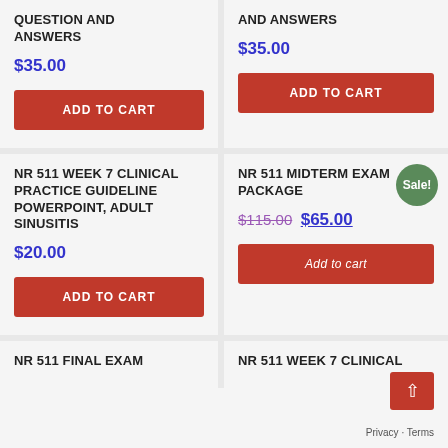QUESTION AND ANSWERS
$35.00
ADD TO CART
AND ANSWERS
$35.00
ADD TO CART
NR 511 WEEK 7 CLINICAL PRACTICE GUIDELINE POWERPOINT, ADULT SINUSITIS
$20.00
ADD TO CART
NR 511 MIDTERM EXAM PACKAGE
$115.00 $65.00
Add to cart
NR 511 FINAL EXAM
NR 511 WEEK 7 CLINICAL